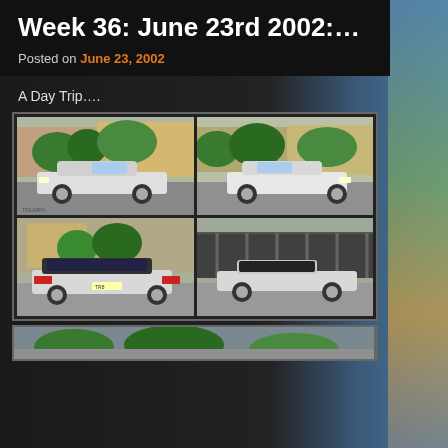Week 36: June 23rd 2002:…
Posted on June 23, 2002
A Day Trip….
[Figure (photo): Four photos in a 2x2 grid showing a white/silver classic Triumph TR7/TR8 convertible sports car in a parking lot from different angles (front-left, front-right, rear-left, rear-right), with trees and buildings in the background]
[Figure (photo): Partial bottom image strip showing another photo beginning to appear]